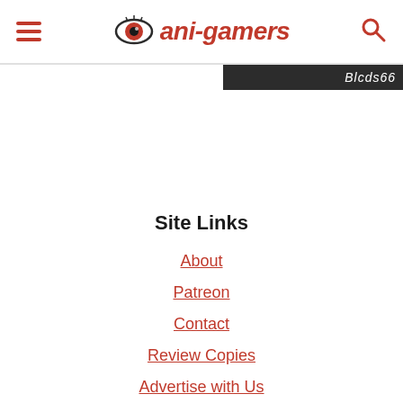ani-gamers
Site Links
About
Patreon
Contact
Review Copies
Advertise with Us
Policies/Disclaimers
Reusing Our Content
Site History
Glossary
Staff